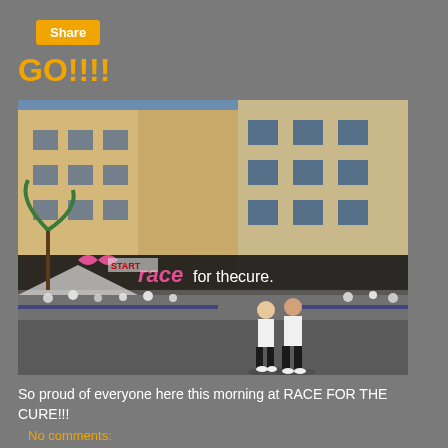Share
GO!!!!
[Figure (photo): Outdoor race event at 'Race for the Cure'. Shows the start line with a banner reading 'race for the cure' with pink ribbons. Crowds of participants in white t-shirts line the street. Two women in white shirts walk in the foreground. Urban setting with large office buildings in background.]
So proud of everyone here this morning at RACE FOR THE CURE!!!
No comments: